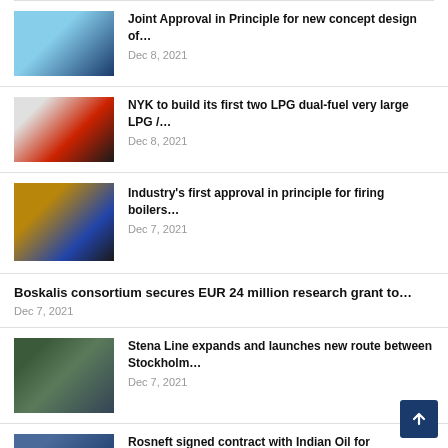Joint Approval in Principle for new concept design of…
Dec 8, 2021
NYK to build its first two LPG dual-fuel very large LPG /…
Dec 8, 2021
Industry's first approval in principle for firing boilers…
Dec 7, 2021
Boskalis consortium secures EUR 24 million research grant to…
Dec 7, 2021
Stena Line expands and launches new route between Stockholm…
Dec 7, 2021
Rosneft signed contract with Indian Oil for…